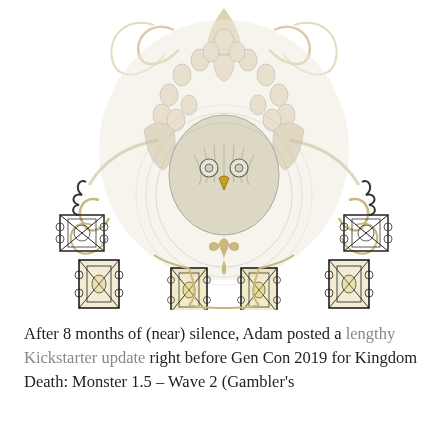[Figure (illustration): A detailed symmetrical black-and-white illustration with gold accents. Features a central bird/eagle face surrounded by layered human figures arranged in a circular mandala-like composition, with ornate decorative lanterns and iron structures at the sides and bottom, and floral/vine embellishments on a white background.]
After 8 months of (near) silence, Adam posted a lengthy Kickstarter update right before Gen Con 2019 for Kingdom Death: Monster 1.5 – Wave 2 (Gambler's